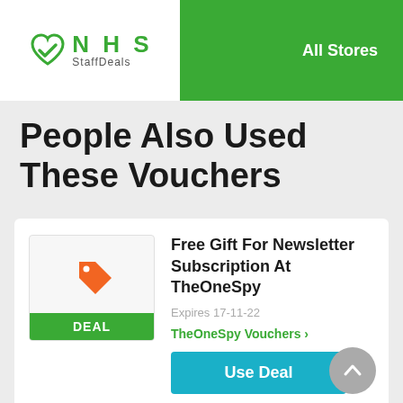NHS StaffDeals — All Stores
People Also Used These Vouchers
Free Gift For Newsletter Subscription At TheOneSpy
Expires 17-11-22
TheOneSpy Vouchers
Use Deal
Real Cool Savings - Limited